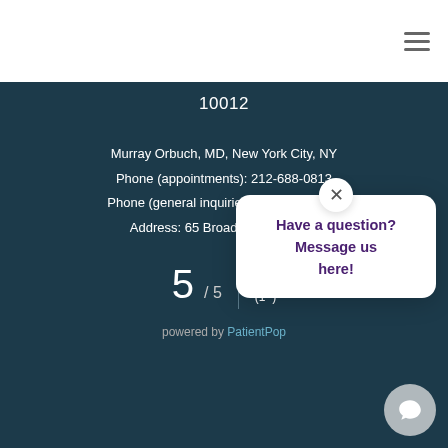Navigation menu (hamburger icon)
10012
Murray Orbuch, MD, New York City, NY
Phone (appointments): 212-688-0813
Phone (general inquiries): 212-688-0813
Address: 65 Broadway, Suite [partially obscured]
5 / 5  ★ (1[obscured]) reviews
powered by PatientPop
Have a question? Message us here!